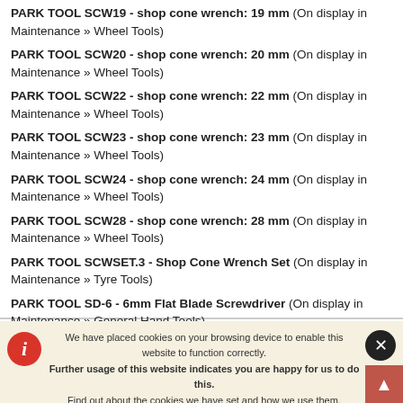PARK TOOL SCW19 - shop cone wrench: 19 mm (On display in Maintenance » Wheel Tools)
PARK TOOL SCW20 - shop cone wrench: 20 mm (On display in Maintenance » Wheel Tools)
PARK TOOL SCW22 - shop cone wrench: 22 mm (On display in Maintenance » Wheel Tools)
PARK TOOL SCW23 - shop cone wrench: 23 mm (On display in Maintenance » Wheel Tools)
PARK TOOL SCW24 - shop cone wrench: 24 mm (On display in Maintenance » Wheel Tools)
PARK TOOL SCW28 - shop cone wrench: 28 mm (On display in Maintenance » Wheel Tools)
PARK TOOL SCWSET.3 - Shop Cone Wrench Set (On display in Maintenance » Tyre Tools)
PARK TOOL SD-6 - 6mm Flat Blade Screwdriver (On display in Maintenance » General Hand Tools)
We have placed cookies on your browsing device to enable this website to function correctly. Further usage of this website indicates you are happy for us to do this. Find out about the cookies we have set and how we use them.